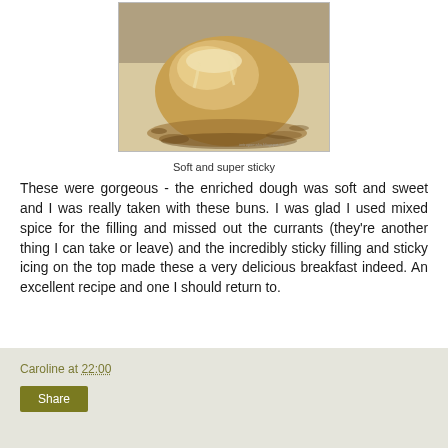[Figure (photo): Close-up photo of a soft, golden-brown sticky bun with icing glaze on top, sitting on a surface with caramel/sticky residue around it. Watermark text visible in lower right corner.]
Soft and super sticky
These were gorgeous - the enriched dough was soft and sweet and I was really taken with these buns. I was glad I used mixed spice for the filling and missed out the currants (they're another thing I can take or leave) and the incredibly sticky filling and sticky icing on the top made these a very delicious breakfast indeed. An excellent recipe and one I should return to.
Caroline at 22:00
Share